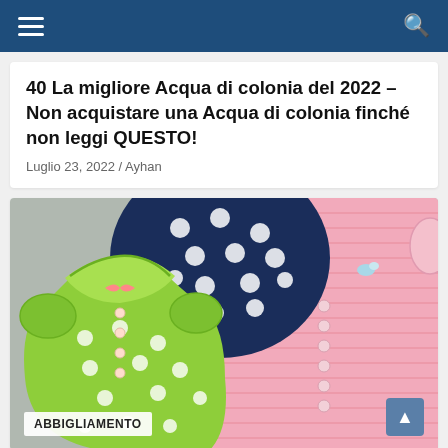Navigation bar with hamburger menu and search icon
40 La migliore Acqua di colonia del 2022 – Non acquistare una Acqua di colonia finché non leggi QUESTO!
Luglio 23, 2022 / Ayhan
[Figure (photo): Product photo of baby garments: a green polka-dot ruffled romper (foreground left), a navy blue polka-dot garment (background center), and a pink striped snap-front romper (right). Label 'ABBIGLIAMENTO' in bottom-left corner with a scroll-to-top button in bottom-right.]